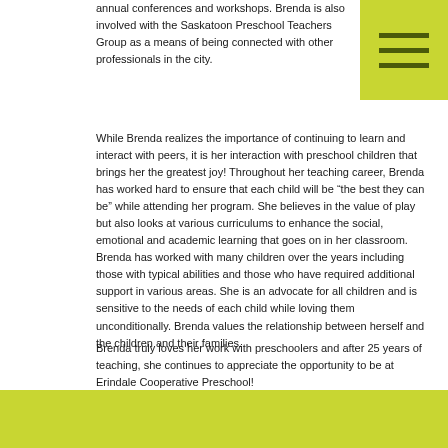annual conferences and workshops. Brenda is also involved with the Saskatoon Preschool Teachers Group as a means of being connected with other professionals in the city.
[Figure (other): Yellow-green square with three horizontal dark lines forming a hamburger/menu icon]
While Brenda realizes the importance of continuing to learn and interact with peers, it is her interaction with preschool children that brings her the greatest joy! Throughout her teaching career, Brenda has worked hard to ensure that each child will be “the best they can be” while attending her program. She believes in the value of play but also looks at various curriculums to enhance the social, emotional and academic learning that goes on in her classroom. Brenda has worked with many children over the years including those with typical abilities and those who have required additional support in various areas. She is an advocate for all children and is sensitive to the needs of each child while loving them unconditionally. Brenda values the relationship between herself and the children and their families.
Brenda truly loves her work with preschoolers and after 25 years of teaching, she continues to appreciate the opportunity to be at Erindale Cooperative Preschool!